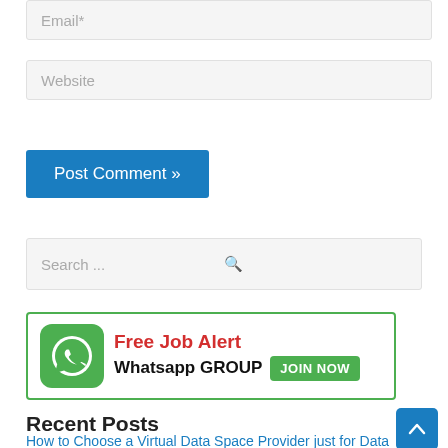[Figure (screenshot): Email input field with placeholder 'Email*']
[Figure (screenshot): Website input field with placeholder 'Website']
[Figure (screenshot): Blue 'Post Comment »' button]
[Figure (screenshot): Search bar with placeholder 'Search ...' and magnifying glass icon]
[Figure (screenshot): WhatsApp group banner with green WhatsApp icon, red 'Free Job Alert' text, 'Whatsapp GROUP' text, and green 'JOIN NOW' button]
Recent Posts
How to Choose a Virtual Data Space Provider just for Data